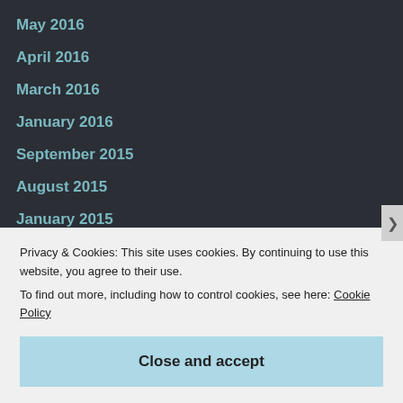May 2016
April 2016
March 2016
January 2016
September 2015
August 2015
January 2015
August 2014
June 2014
May 2014
March 2014
Privacy & Cookies: This site uses cookies. By continuing to use this website, you agree to their use.
To find out more, including how to control cookies, see here: Cookie Policy
Close and accept